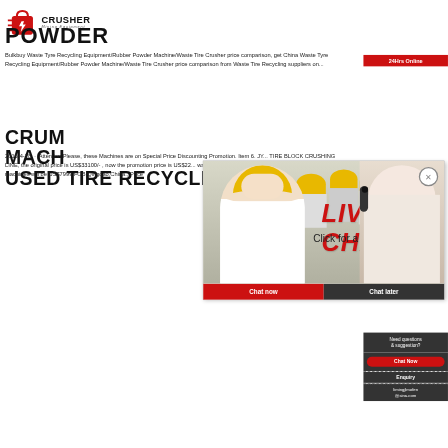CRUSHER Mining Equipment
POWDER
Bulkbuy Waste Tyre Recycling Equipment/Rubber Powder Machine/Waste Tire Crusher price comparison, get China Waste Tyre Recycling Equipment/Rubber Powder Machine/Waste Tire Crusher price comparison from Tire Recycling suppliers on...
[Figure (photo): Live chat popup overlay with workers in yellow hard hats and a female headset operator, showing LIVE CHAT, Click for a Free Consultation, Chat now and Chat later buttons]
[Figure (infographic): Right sidebar with 24Hrs Online label, Need questions & suggestion? text, Chat Now button, Enquiry section, and limingjlmofen@sina.com email]
CRUM... MACH... USED TIRE RECYCLING
2016-4-28 · Attention Please, these Machines are on Special Price Discounting Promotion. Item 6. JY... TIRE BLOCK CRUSHING LINE, the original price is US$33100/-, now the promotion price is US$22... want the JYXKP-400 Rubber Crusher, all prices... machines will be US$7999 FOB Qingdao,China., Price